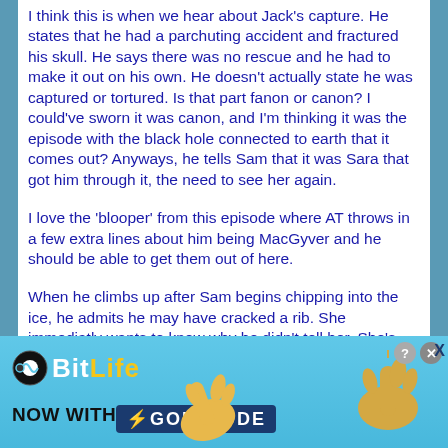I think this is when we hear about Jack's capture. He states that he had a parchuting accident and fractured his skull. He says there was no rescue and he had to make it out on his own. He doesn't actually state he was captured or tortured. Is that part fanon or canon? I could've sworn it was canon, and I'm thinking it was the episode with the black hole connected to earth that it comes out? Anyways, he tells Sam that it was Sara that got him through it, the need to see her again.
I love the 'blooper' from this episode where AT throws in a few extra lines about him being MacGyver and he should be able to get them out of here.
When he climbs up after Sam begins chipping into the ice, he admits he may have cracked a rib. She immediatly wants to know why he didn't tell her. She's the 'assigned medic' on the team is she not? I like the way she immediatly demands to know why he didn't tell her, even though he is her CO. Instead of ignoring her, he cracks a feeble joke but moves on. Honestly is there anything she could've done for a potential cracked rib? Whe...
[Figure (screenshot): BitLife advertisement banner with 'NOW WITH GOD MODE' text, hands pointing, close and question buttons]